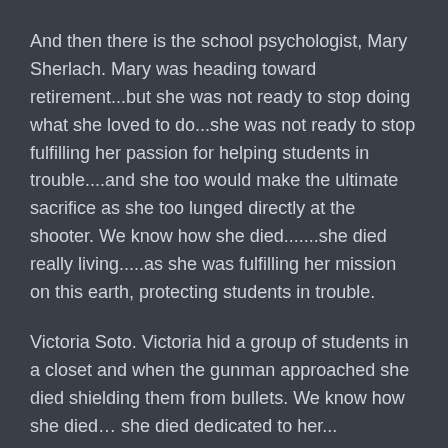And then there is the school psychologist, Mary Sherlach. Mary was heading toward retirement...but she was not ready to stop doing what she loved to do...she was not ready to stop fulfilling her passion for helping students in trouble....and she too would make the ultimate sacrifice as she too lunged directly at the shooter. We know how she died.......she died really living.....as she was fulfilling her mission on this earth, protecting students in trouble.
Victoria Soto. Victoria hid a group of students in a closet and when the gunman approached she died shielding them from bullets. We know how she died… she died dedicated to her...